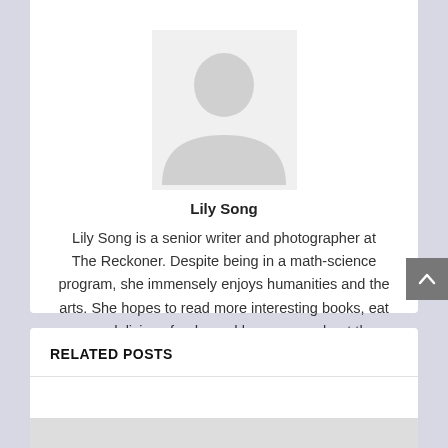[Figure (photo): Gray placeholder avatar silhouette of a person]
Lily Song
Lily Song is a senior writer and photographer at The Reckoner. Despite being in a math-science program, she immensely enjoys humanities and the arts. She hopes to read more interesting books, eat more delicious foods, and learn more about the world in general. She aspires to be a better writer in particular.
RELATED POSTS